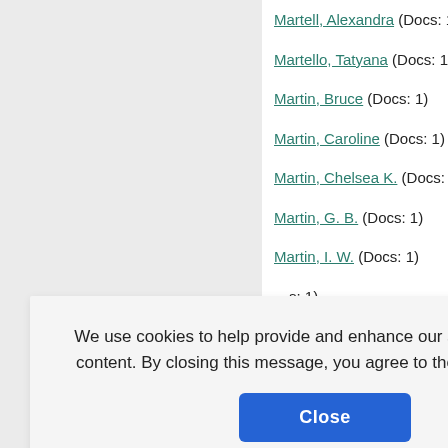Martell, Alexandra (Docs: 1)
Martello, Tatyana (Docs: 1)
Martin, Bruce (Docs: 1)
Martin, Caroline (Docs: 1)
Martin, Chelsea K. (Docs: 1)
Martin, G. B. (Docs: 1)
Martin, I. W. (Docs: 1)
(Docs: 1)
(Docs: 1)
K. (Docs: 1)
(Docs: 1)
Martínez-Vizcaíno, Vicente (Docs: 1)
We use cookies to help provide and enhance our service and tailor content. By closing this message, you agree to the use of cookies.